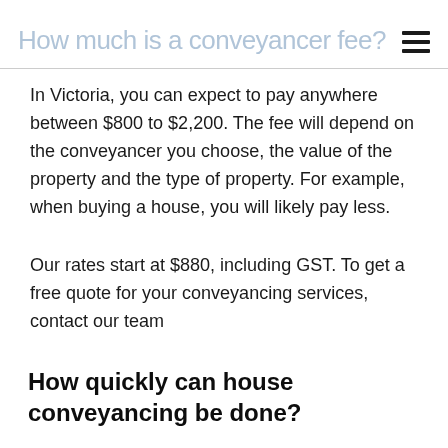How much is a conveyancer fee?
In Victoria, you can expect to pay anywhere between $800 to $2,200. The fee will depend on the conveyancer you choose, the value of the property and the type of property. For example, when buying a house, you will likely pay less.
Our rates start at $880, including GST. To get a free quote for your conveyancing services, contact our team
How quickly can house conveyancing be done?